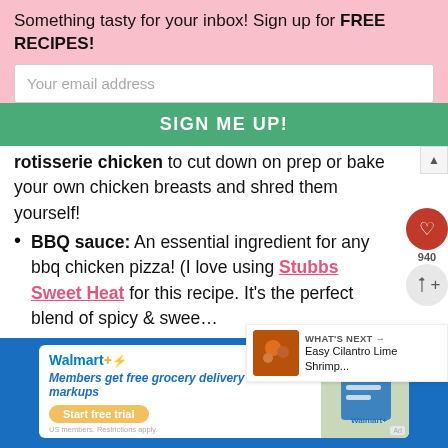Something tasty for your inbox! Sign up for FREE RECIPES!
Your email address
SIGN ME UP!
rotisserie chicken to cut down on prep or bake your own chicken breasts and shred them yourself!
BBQ sauce: An essential ingredient for any bbq chicken pizza! (I love using Stubbs Sweet Heat for this recipe. It's the perfect blend of spicy & sweet…
Mozzarella cheese: Fresh mozzarella or pre-shredded mozzarella both work for your pizzas.
WHAT'S NEXT → Easy Cilantro Lime Shrimp...
[Figure (infographic): Walmart+ advertisement card: Members get free grocery delivery with no markups. Start free trial button. Shows Walmart shopping bag with groceries.]